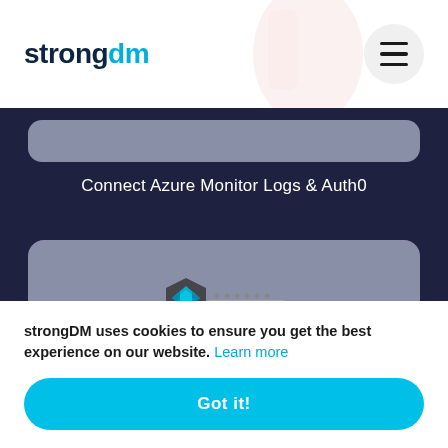strongdm
Connect Azure Monitor Logs & Auth0
[Figure (logo): Keycloak logo: a stylized key graphic with diamond/arrow shapes in blue and grey, with text KEYCLOAK below in grey letters]
strongDM uses cookies to ensure you get the best experience on our website. Learn more
Got it!